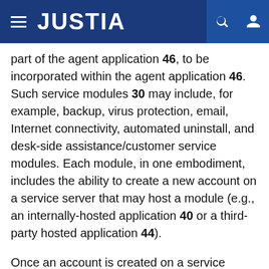JUSTIA
part of the agent application 46, to be incorporated within the agent application 46. Such service modules 30 may include, for example, backup, virus protection, email, Internet connectivity, automated uninstall, and desk-side assistance/customer service modules. Each module, in one embodiment, includes the ability to create a new account on a service server that may host a module (e.g., an internally-hosted application 40 or a third-party hosted application 44).
Once an account is created on a service server, the appropriate service is installed and configured on the managed system 18. To this end, the appropriate service module 30 is sent to the managed system 18 (e.g., by sending a command line from the control center 32 to the software distribution and inventory engine 34 to send the appropriate module or package to the